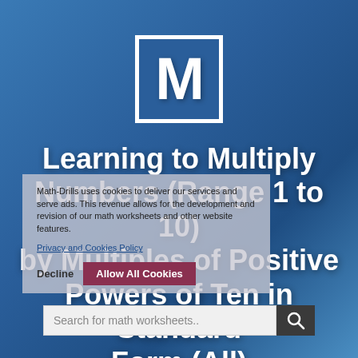[Figure (logo): Large capital letter M in white inside a white-bordered dark blue square — math worksheet site logo]
Learning to Multiply Numbers (Range 1 to 10) by Multiples of Positive Powers of Ten in Standard Form (All)
Math-Drills uses cookies to deliver our services and serve ads. This revenue allows for the development and revision of our math worksheets and other website features.
Privacy and Cookies Policy
Decline   Allow All Cookies
Search for math worksheets..